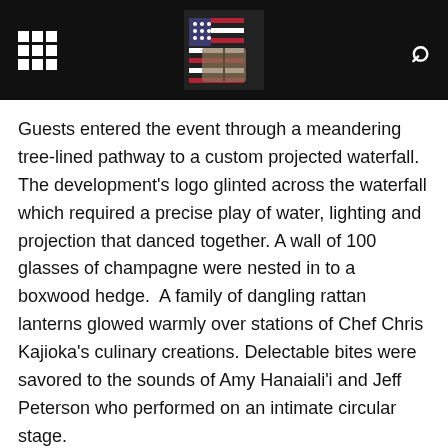[Figure (screenshot): Black navigation header bar with a 3x3 grid icon on the left, a flag/book logo image in the center, and a search icon on the right]
Guests entered the event through a meandering tree-lined pathway to a custom projected waterfall. The development’s logo glinted across the waterfall which required a precise play of water, lighting and projection that danced together. A wall of 100 glasses of champagne were nested in to a boxwood hedge.  A family of dangling rattan lanterns glowed warmly over stations of Chef Chris Kajioka’s culinary creations. Delectable bites were savored to the sounds of Amy Hanaiali’i and Jeff Peterson who performed on an intimate circular stage.
We are constantly in awe of this community's re-imagining of urban living with distinctive residential towers woven together as an intimate neighborhood.
So many Partners came together for this Production – all